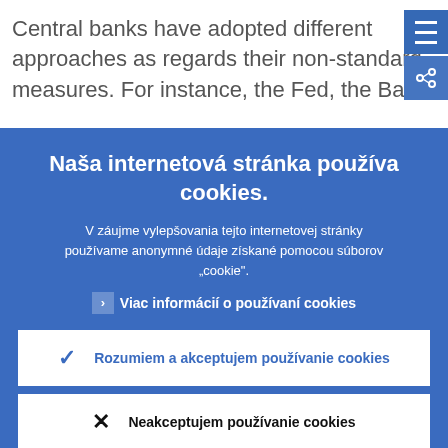Central banks have adopted different approaches as regards their non-standard measures. For instance, the Fed, the Ban...
Naša internetová stránka používa cookies.
V záujme vylepšovania tejto internetovej stránky používame anonymné údaje získané pomocou súborov „cookie".
❯ Viac informácií o používaní cookies
✓ Rozumiem a akceptujem používanie cookies
✕ Neakceptujem používanie cookies